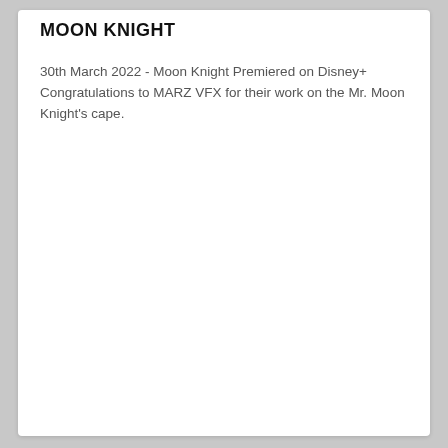MOON KNIGHT
30th March 2022 - Moon Knight Premiered on Disney+ Congratulations to MARZ VFX for their work on the Mr. Moon Knight's cape.